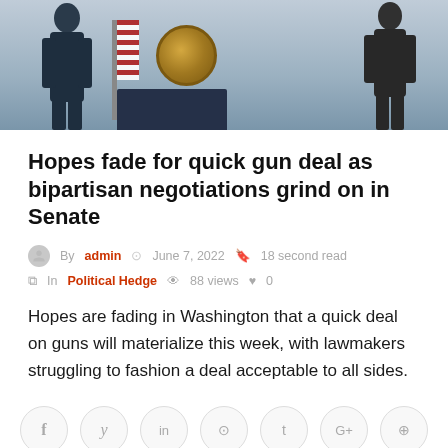[Figure (photo): Photo of a person in a dark suit at a presidential podium with the US presidential seal, flanked by US flags, with another figure on the right, set against an outdoor background.]
Hopes fade for quick gun deal as bipartisan negotiations grind on in Senate
By admin  June 7, 2022  18 second read  In Political Hedge  88 views  0
Hopes are fading in Washington that a quick deal on guns will materialize this week, with lawmakers struggling to fashion a deal acceptable to all sides.